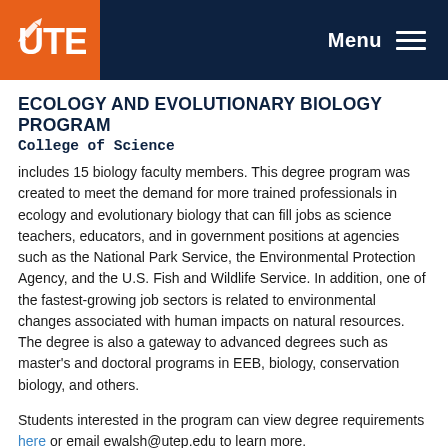UTEP — Menu
ECOLOGY AND EVOLUTIONARY BIOLOGY PROGRAM
College of Science
includes 15 biology faculty members. This degree program was created to meet the demand for more trained professionals in ecology and evolutionary biology that can fill jobs as science teachers, educators, and in government positions at agencies such as the National Park Service, the Environmental Protection Agency, and the U.S. Fish and Wildlife Service. In addition, one of the fastest-growing job sectors is related to environmental changes associated with human impacts on natural resources. The degree is also a gateway to advanced degrees such as master's and doctoral programs in EEB, biology, conservation biology, and others.
Students interested in the program can view degree requirements here or email ewalsh@utep.edu to learn more.